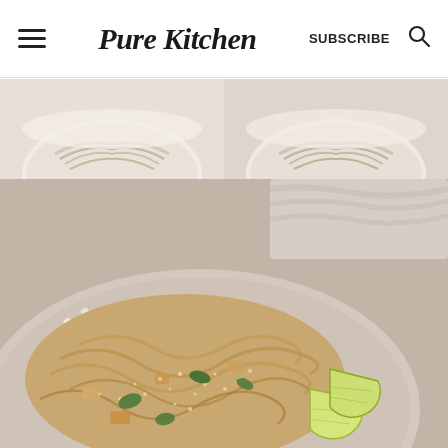Pure Kitchen — SUBSCRIBE (search icon)
[Figure (photo): Two side-by-side photos of white bowls containing pale noodles (likely rice noodles or pad thai before sauce), shot from above at an angle on a light background.]
[Figure (photo): Large close-up photo of a plate of pad thai noodles with tofu or chicken, garnished with fresh basil/mint leaves, sesame seeds, and lime wedges on the side, with chopsticks resting on the plate. The dish sits on a beige ceramic plate on a light background.]